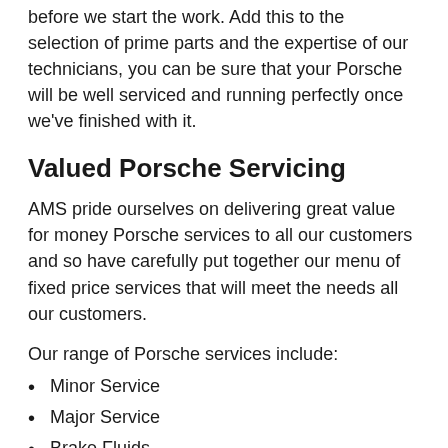before we start the work. Add this to the selection of prime parts and the expertise of our technicians, you can be sure that your Porsche will be well serviced and running perfectly once we've finished with it.
Valued Porsche Servicing
AMS pride ourselves on delivering great value for money Porsche services to all our customers and so have carefully put together our menu of fixed price services that will meet the needs all our customers.
Our range of Porsche services include:
Minor Service
Major Service
Brake Fluids
Spark Plugs
If you are a proud Porsche owner and would like to